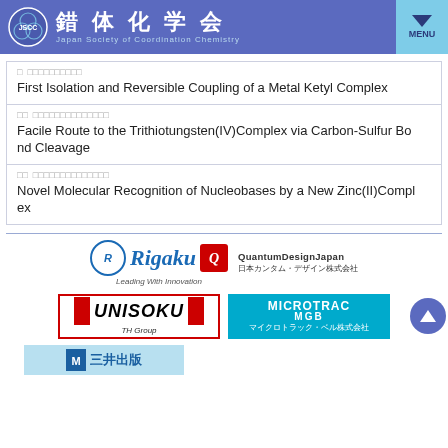錯体化学会 Japan Society of Coordination Chemistry
First Isolation and Reversible Coupling of a Metal Ketyl Complex
Facile Route to the Trithiotungsten(IV)Complex via Carbon-Sulfur Bond Cleavage
Novel Molecular Recognition of Nucleobases by a New Zinc(II)Complex
[Figure (logo): Rigaku - Leading With Innovation logo]
[Figure (logo): Quantum Design Japan / 日本カンタム・デザイン株式会社 logo]
[Figure (logo): UNISOKU TH Group logo]
[Figure (logo): MICROTRAC MGB / マイクロトラック・ベル株式会社 logo]
[Figure (logo): 三井出版 logo (partial)]